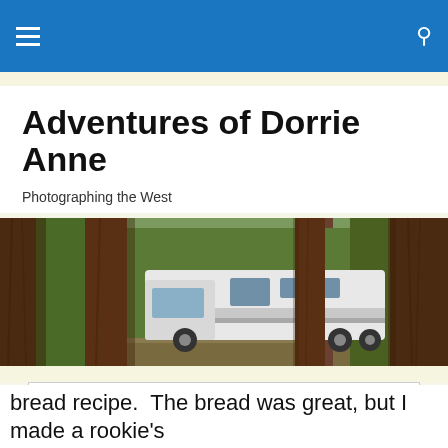Adventures of Dorrie Anne — navigation bar
Adventures of Dorrie Anne
Photographing the West
[Figure (photo): An RV/motorhome parked among large pine trees in a forest setting, viewed from outside through the trees]
Privacy & Cookies: This site uses cookies. By continuing to use this website, you agree to their use. To find out more, including how to control cookies, see here: Cookie Policy
bread recipe.  The bread was great, but I made a rookie's